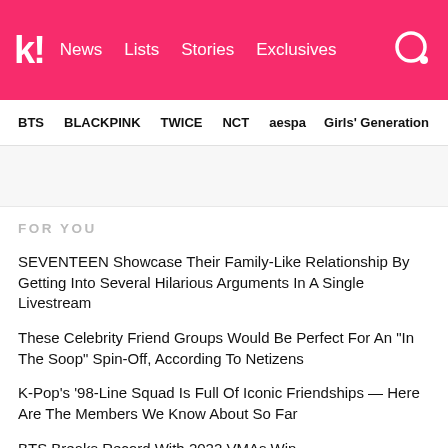koreaboo — News | Lists | Stories | Exclusives
BTS | BLACKPINK | TWICE | NCT | aespa | Girls' Generation
FOR YOU
SEVENTEEN Showcase Their Family-Like Relationship By Getting Into Several Hilarious Arguments In A Single Livestream
These Celebrity Friend Groups Would Be Perfect For An "In The Soop" Spin-Off, According To Netizens
K-Pop's '98-Line Squad Is Full Of Iconic Friendships — Here Are The Members We Know About So Far
BTS Breaks Record With 2022 VMAs Win
SEVENTEEN Wins At 2022 VMAs